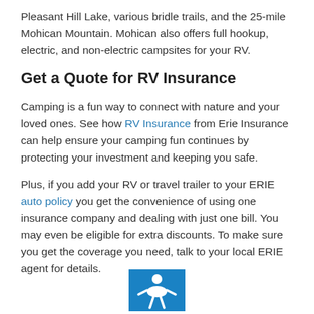Pleasant Hill Lake, various bridle trails, and the 25-mile Mohican Mountain. Mohican also offers full hookup, electric, and non-electric campsites for your RV.
Get a Quote for RV Insurance
Camping is a fun way to connect with nature and your loved ones. See how RV Insurance from Erie Insurance can help ensure your camping fun continues by protecting your investment and keeping you safe.
Plus, if you add your RV or travel trailer to your ERIE auto policy you get the convenience of using one insurance company and dealing with just one bill. You may even be eligible for extra discounts. To make sure you get the coverage you need, talk to your local ERIE agent for details.
[Figure (logo): Erie Insurance logo icon, blue square background with white figure/person icon]